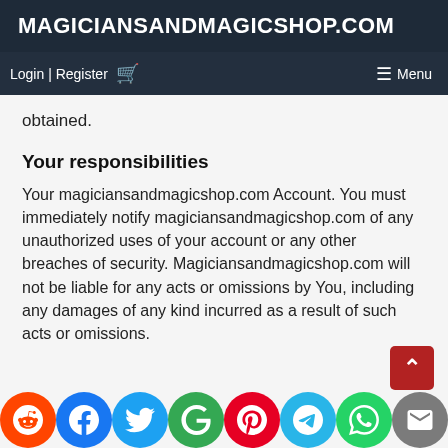MAGICIANSANDMAGICSHOP.COM
Login | Register  🛒  ≡ Menu
obtained.
Your responsibilities
Your magiciansandmagicshop.com Account. You must immediately notify magiciansandmagicshop.com of any unauthorized uses of your account or any other breaches of security. Magiciansandmagicshop.com will not be liable for any acts or omissions by You, including any damages of any kind incurred as a result of such acts or omissions.